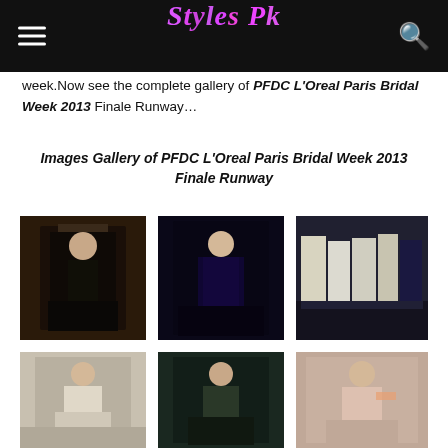Styles Pk
week.Now see the complete gallery of PFDC L'Oreal Paris Bridal Week 2013 Finale Runway…
Images Gallery of PFDC L'Oreal Paris Bridal Week 2013 Finale Runway
[Figure (photo): Fashion runway photo - models in dark/black traditional Pakistani bridal attire]
[Figure (photo): Fashion runway photo - model in blue traditional Pakistani bridal attire]
[Figure (photo): Fashion runway photo - group of models in white and blue traditional Pakistani bridal attire]
[Figure (photo): Fashion runway photo - model in white/cream traditional Pakistani bridal attire]
[Figure (photo): Fashion runway photo - model in teal/green traditional Pakistani bridal attire]
[Figure (photo): Fashion runway photo - model in pink/peach traditional Pakistani bridal attire]